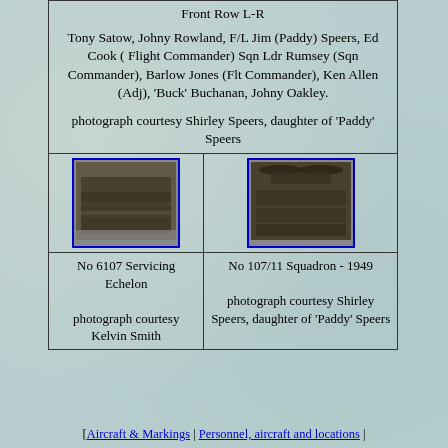| Front Row L-R

Tony Satow, Johny Rowland, F/L Jim (Paddy) Speers, Ed Cook ( Flight Commander) Sqn Ldr Rumsey (Sqn Commander), Barlow Jones (Flt Commander), Ken Allen (Adj), 'Buck' Buchanan, Johny Oakley.

photograph courtesy Shirley Speers, daughter of 'Paddy' Speers |
| [photo: No 6107 Servicing Echelon] | [photo: No 107/11 Squadron - 1949] |
| No 6107 Servicing Echelon

photograph courtesy Kelvin Smith | No 107/11 Squadron - 1949

photograph courtesy Shirley Speers, daughter of 'Paddy' Speers |
[ Aircraft & Markings | Personnel, aircraft and locations |